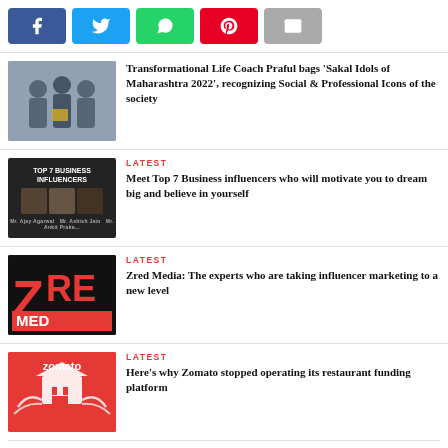[Figure (other): Social share buttons: Facebook, Twitter, WhatsApp, Pinterest, Email]
[Figure (photo): Group of people at an award ceremony]
Transformational Life Coach Praful bags 'Sakal Idols of Maharashtra 2022', recognizing Social & Professional Icons of the society
[Figure (photo): Top 7 Business Influencers collage with three men's photos]
LATEST
Meet Top 7 Business influencers who will motivate you to dream big and believe in yourself
[Figure (logo): Zred Media logo - red Z and RE text on dark background]
LATEST
Zred Media: The experts who are taking influencer marketing to a new level
[Figure (logo): Zomato logo on red background with restaurant illustration]
LATEST
Here's why Zomato stopped operating its restaurant funding platform